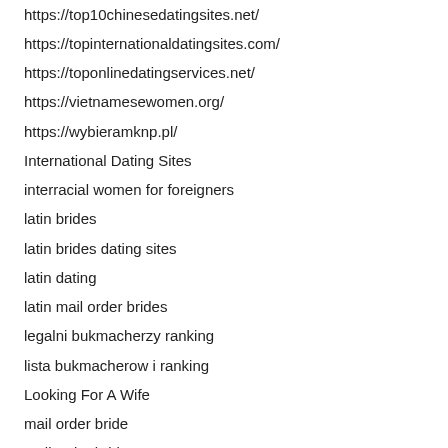https://top10chinesedatingsites.net/
https://topinternationaldatingsites.com/
https://toponlinedatingservices.net/
https://vietnamesewomen.org/
https://wybieramknp.pl/
International Dating Sites
interracial women for foreigners
latin brides
latin brides dating sites
latin dating
latin mail order brides
legalni bukmacherzy ranking
lista bukmacherow i ranking
Looking For A Wife
mail order bride
mail order brides
mail order wife
Mailorder Brides
Marrying A Foreign Wife
Meet A Wife